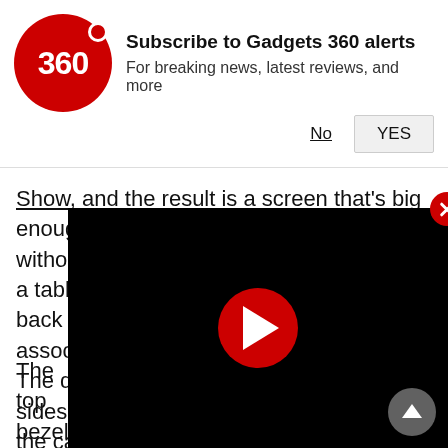[Figure (screenshot): Gadgets 360 push notification subscribe banner with red circular logo showing '360', bold title 'Subscribe to Gadgets 360 alerts', subtitle 'For breaking news, latest reviews, and more', and two buttons: 'No' (underlined) and 'YES' (button)]
Show, and the result is a screen that's big enough to be visible from across a room without taking too much physical space on a table. The wedge-shaped base at the back has the fabric coating we've come to associate with products in this category. The display has fairly thick bezels on all sides, again something we've seen across the category.
The top bezel houses a prominent a (which looks a lot like a camera, but mics on either side. Just behind this sensor is a physical switch to toggle the mics on or off. This positioning makes this button a lot more accessible than its
[Figure (screenshot): Embedded video player with black background and red circular play button in center, with red close (X) button at top right]